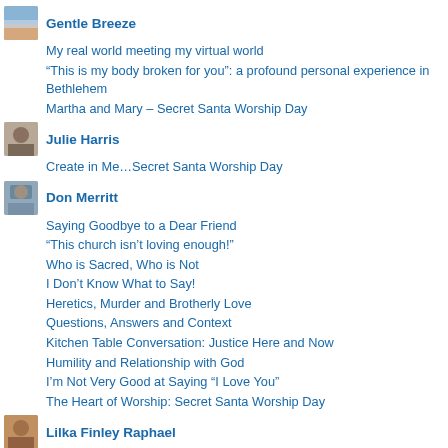Gentle Breeze
My real world meeting my virtual world
“This is my body broken for you”: a profound personal experience in Bethlehem
Martha and Mary – Secret Santa Worship Day
Julie Harris
Create in Me…Secret Santa Worship Day
Don Merritt
Saying Goodbye to a Dear Friend
“This church isn’t loving enough!”
Who is Sacred, Who is Not
I Don’t Know What to Say!
Heretics, Murder and Brotherly Love
Questions, Answers and Context
Kitchen Table Conversation: Justice Here and Now
Humility and Relationship with God
I’m Not Very Good at Saying “I Love You”
The Heart of Worship: Secret Santa Worship Day
Lilka Finley Raphael
Loss of my best friend, and sister in Christ: Gifted to us from October